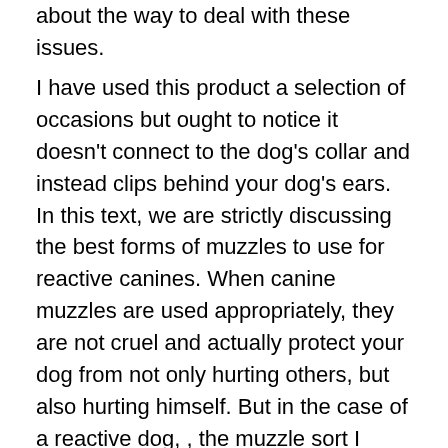about the way to deal with these issues.
I have used this product a selection of occasions but ought to notice it doesn't connect to the dog's collar and instead clips behind your dog's ears. In this text, we are strictly discussing the best forms of muzzles to use for reactive canines. When canine muzzles are used appropriately, they are not cruel and actually protect your dog from not only hurting others, but also hurting himself. But in the case of a reactive dog, , the muzzle sort I suggest could be a plastic basket muzzle. And of course, some dogs want muzzles to help stop someone from getting harm throughout reactivity or aggression. With that being said, it's essential to note that even the most effective behaved